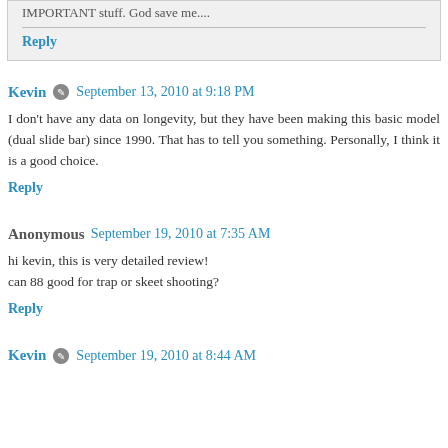IMPORTANT stuff. God save me....
Reply
Kevin  September 13, 2010 at 9:18 PM
I don't have any data on longevity, but they have been making this basic model (dual slide bar) since 1990. That has to tell you something. Personally, I think it is a good choice.
Reply
Anonymous  September 19, 2010 at 7:35 AM
hi kevin, this is very detailed review!
can 88 good for trap or skeet shooting?
Reply
Kevin  September 19, 2010 at 8:44 AM